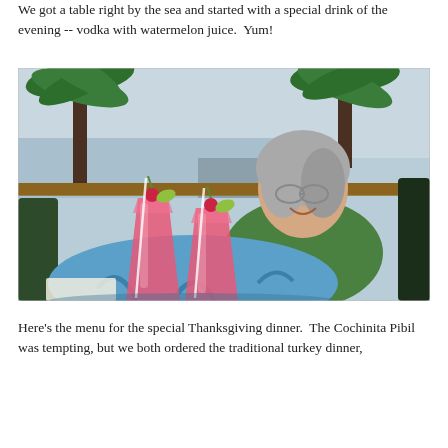We got a table right by the sea and started with a special drink of the evening -- vodka with watermelon juice.  Yum!
[Figure (photo): A woman with gray hair and glasses, wearing a green t-shirt, sits at a colorful blue painted outdoor table near the sea. Two tall pink drinks (vodka with watermelon juice) garnished with cherries and lime sit in front of her. Palm trees and a waterfront deck with string lights are visible in the background.]
Here's the menu for the special Thanksgiving dinner.  The Cochinita Pibil was tempting, but we both ordered the traditional turkey dinner,